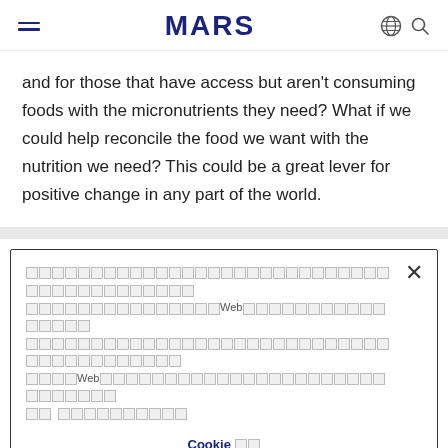MARS
and for those that have access but aren't consuming foods with the micronutrients they need? What if we could help reconcile the food we want with the nutrition we need? This could be a great lever for positive change in any part of the world.
[Cookie consent banner with tofu characters] Cookie [tofu][tofu]